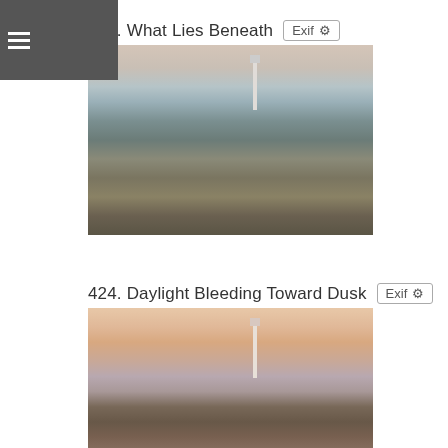≡
423. What Lies Beneath
[Figure (photo): Coastal landscape with rocky foreground, tidal pools reflecting the sky, and a tall lighthouse silhouetted in the background against a pale twilight sky. Wide-angle shot with dramatic rocky terrain.]
424. Daylight Bleeding Toward Dusk
[Figure (photo): Coastal landscape at dusk with rocky foreground and tidal pools, lighthouse visible in background against an orange and pink sunset sky. Similar composition to previous photo but warmer tones indicating later time of day.]